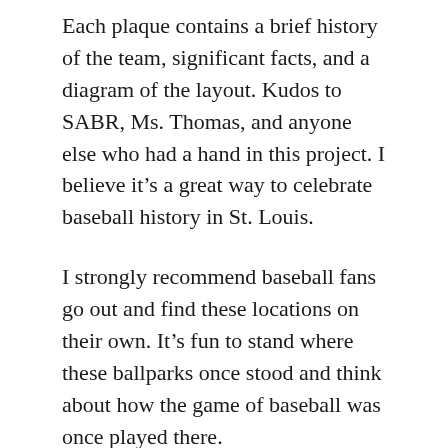Each plaque contains a brief history of the team, significant facts, and a diagram of the layout. Kudos to SABR, Ms. Thomas, and anyone else who had a hand in this project. I believe it’s a great way to celebrate baseball history in St. Louis.
I strongly recommend baseball fans go out and find these locations on their own. It’s fun to stand where these ballparks once stood and think about how the game of baseball was once played there.
Follow along as I visit each of the bygone ballparks of St. Louis. The parks are listed in order of their closing, starting with one that I knew absolutely nothing about.